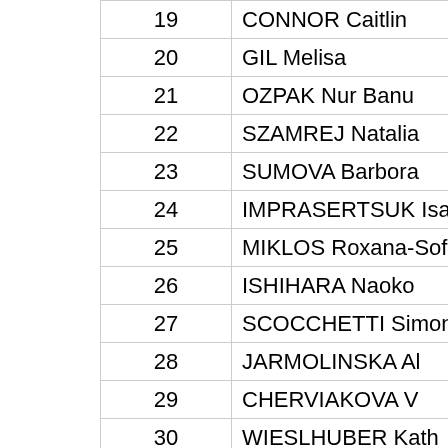| # | Name |
| --- | --- |
| 19 | CONNOR Caitlin |
| 20 | GIL Melisa |
| 21 | OZPAK Nur Banu |
| 22 | SZAMREJ Natalia |
| 23 | SUMOVA Barbora |
| 24 | IMPRASERTSUK Isara... |
| 25 | MIKLOS Roxana-Sofia |
| 26 | ISHIHARA Naoko |
| 27 | SCOCCHETTI Simona |
| 28 | JARMOLINSKA Al... |
| 29 | CHERVIAKOVA V... |
| 30 | WIESLHUBER Kath... |
| 31 | KRAKHMALEVA Anast... |
| 32 | AVETISYAN Yerjanik |
| 33 | PANARINA Olga |